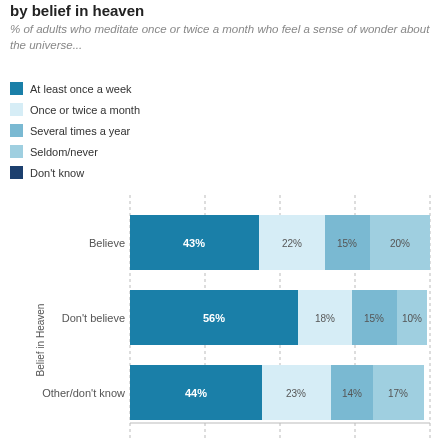by belief in heaven
% of adults who meditate once or twice a month who feel a sense of wonder about the universe...
At least once a week
Once or twice a month
Several times a year
Seldom/never
Don't know
[Figure (stacked-bar-chart): by belief in heaven]